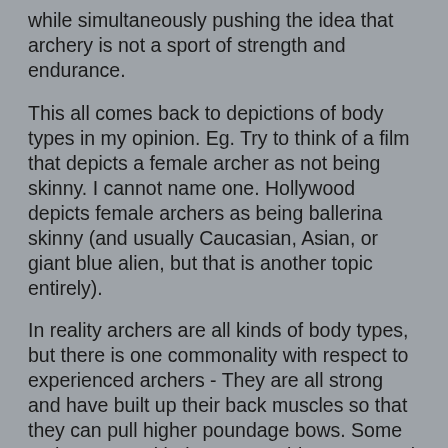while simultaneously pushing the idea that archery is not a sport of strength and endurance.
This all comes back to depictions of body types in my opinion. Eg. Try to think of a film that depicts a female archer as not being skinny. I cannot name one. Hollywood depicts female archers as being ballerina skinny (and usually Caucasian, Asian, or giant blue alien, but that is another topic entirely).
In reality archers are all kinds of body types, but there is one commonality with respect to experienced archers - They are all strong and have built up their back muscles so that they can pull higher poundage bows. Some archers started being reasonably strong, and then became stronger as they built up their rhomboids, deltoids and other muscles used for archery. Some were weaker, but built up the muscle groups over time. Even older archers are often surprisingly robust and strong for their age.
Thus even if an archer started as being skinny or overweight, after 20 years of doing the sport regularly they're going to